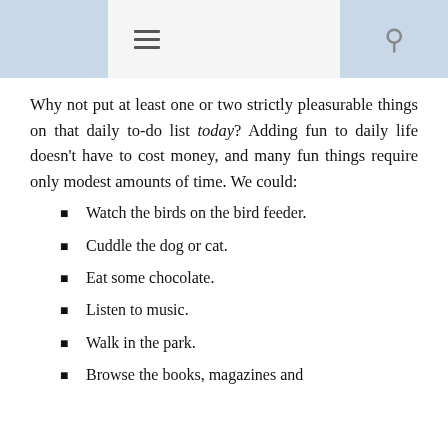Why not put at least one or two strictly pleasurable things on that daily to-do list today? Adding fun to daily life doesn't have to cost money, and many fun things require only modest amounts of time. We could:
Watch the birds on the bird feeder.
Cuddle the dog or cat.
Eat some chocolate.
Listen to music.
Walk in the park.
Browse the books, magazines and...